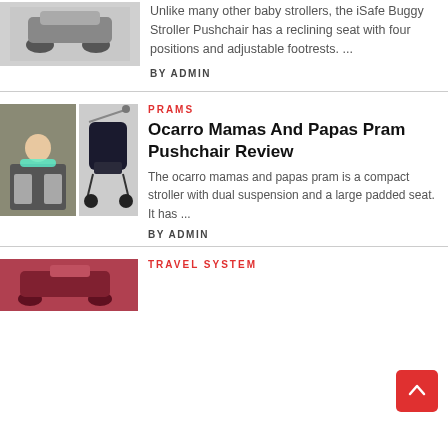[Figure (photo): Baby stroller / buggy product photo at top left]
Unlike many other baby strollers, the iSafe Buggy Stroller Pushchair has a reclining seat with four positions and adjustable footrests. ...
BY ADMIN
[Figure (photo): Two photos: baby in stroller and Ocarro Mamas and Papas dark pram]
PRAMS
Ocarro Mamas And Papas Pram Pushchair Review
The ocarro mamas and papas pram is a compact stroller with dual suspension and a large padded seat. It has ...
BY ADMIN
[Figure (photo): Dark red/maroon travel system stroller at bottom left]
TRAVEL SYSTEM